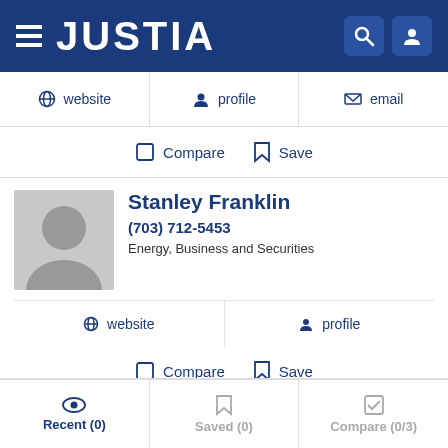JUSTIA
website  profile  email
Compare  Save
Stanley Franklin
(703) 712-5453
Energy, Business and Securities
website  profile
Compare  Save
Wayne Lee
Recent (0)  Saved (0)  Compare (0/3)